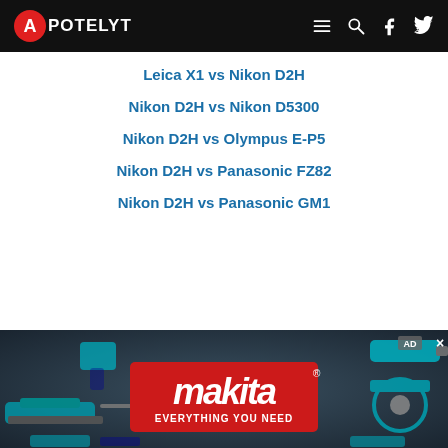APOTELYT — navigation header with logo, menu, search, facebook, twitter icons
Leica X1 vs Nikon D2H
Nikon D2H vs Nikon D5300
Nikon D2H vs Olympus E-P5
Nikon D2H vs Panasonic FZ82
Nikon D2H vs Panasonic GM1
[Figure (photo): Makita power tools advertisement banner showing various power tools (chainsaw, nail gun, drill, saw, etc.) on dark background with Makita logo and tagline EVERYTHING YOU NEED]